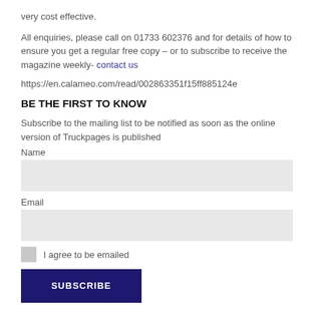very cost effective.
All enquiries, please call on 01733 602376 and for details of how to ensure you get a regular free copy – or to subscribe to receive the magazine weekly- contact us
https://en.calameo.com/read/002863351f15ff885124e
BE THE FIRST TO KNOW
Subscribe to the mailing list to be notified as soon as the online version of Truckpages is published
Name
Email
I agree to be emailed
SUBSCRIBE